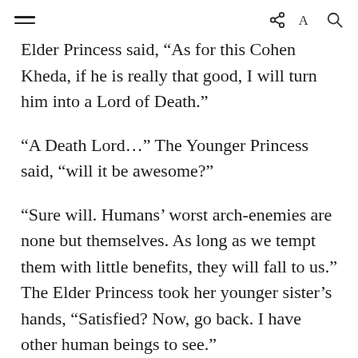≡  share A Q
Elder Princess said, “As for this Cohen Kheda, if he is really that good, I will turn him into a Lord of Death.”
“A Death Lord…” The Younger Princess said, “will it be awesome?”
“Sure will. Humans’ worst arch-enemies are none but themselves. As long as we tempt them with little benefits, they will fall to us.” The Elder Princess took her younger sister’s hands, “Satisfied? Now, go back. I have other human beings to see.”